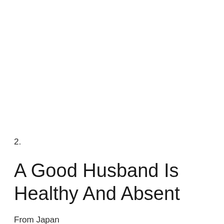2.
A Good Husband Is Healthy And Absent
From Japan